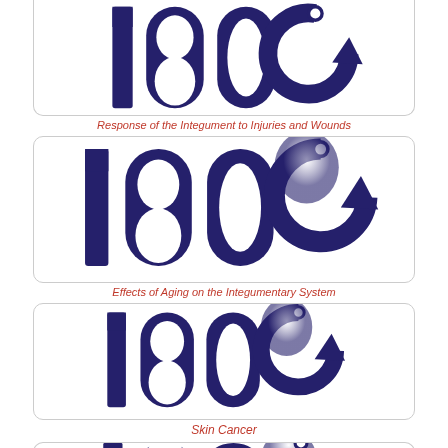[Figure (logo): 180G logo - large bold dark blue stylized text '180' with circular arrow symbol, partially cropped at top]
Response of the Integument to Injuries and Wounds
[Figure (logo): 180G logo - large bold dark blue stylized text '180' with circular arrow symbol and degree sign, full logo visible]
Effects of Aging on the Integumentary System
[Figure (logo): 180G logo - large bold dark blue stylized text '180' with circular arrow symbol and degree sign]
Skin Cancer
[Figure (logo): 180G logo - large bold dark blue stylized text '180' with circular arrow symbol, partially cropped at bottom]